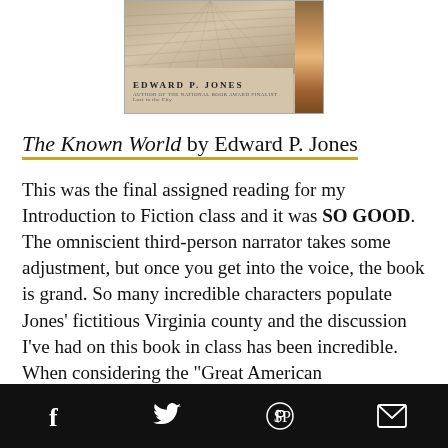[Figure (photo): Book cover of The Known World by Edward P. Jones, showing a wooden floor perspective and the author name in serif type]
The Known World by Edward P. Jones
This was the final assigned reading for my Introduction to Fiction class and it was SO GOOD. The omniscient third-person narrator takes some adjustment, but once you get into the voice, the book is grand. So many incredible characters populate Jones' fictitious Virginia county and the discussion I've had on this book in class has been incredible. When considering the "Great American
f  (Twitter bird)  (Pinterest)  (Mail icon)